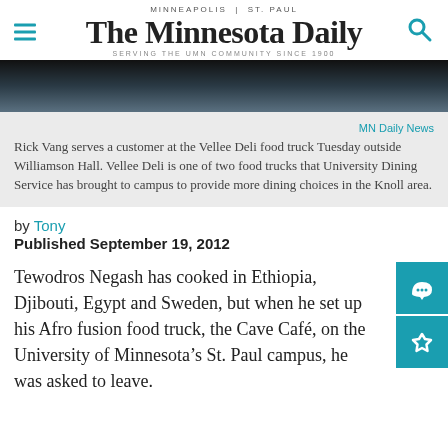MINNEAPOLIS | ST. PAUL
THE MINNESOTA DAILY
SERVING THE UMN COMMUNITY SINCE 1900
[Figure (photo): Cropped photograph showing a person (Rick Vang) at the Vellee Deli food truck outside Williamson Hall]
MN Daily News
Rick Vang serves a customer at the Vellee Deli food truck Tuesday outside Williamson Hall. Vellee Deli is one of two food trucks that University Dining Service has brought to campus to provide more dining choices in the Knoll area.
by Tony
Published September 19, 2012
Tewodros Negash has cooked in Ethiopia, Djibouti, Egypt and Sweden, but when he set up his Afro fusion food truck, the Cave Café, on the University of Minnesota's St. Paul campus, he was asked to leave.